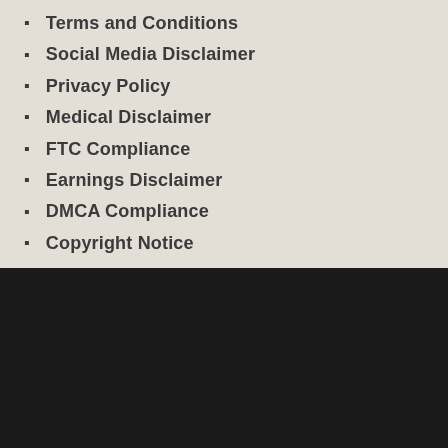Terms and Conditions
Social Media Disclaimer
Privacy Policy
Medical Disclaimer
FTC Compliance
Earnings Disclaimer
DMCA Compliance
Copyright Notice
We use cookies on our website to give you the most relevant experience by remembering your preferences and repeat visits. By clicking “Accept”, you consent to the use of ALL the cookies.
Do not sell my personal information.